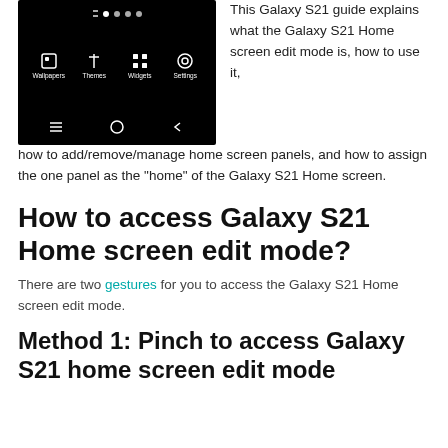[Figure (screenshot): Samsung Galaxy S21 Home screen edit mode screenshot showing Wallpapers, Themes, Widgets, Settings icons with navigation bar at bottom, all on black background]
This Galaxy S21 guide explains what the Galaxy S21 Home screen edit mode is, how to use it, how to add/remove/manage home screen panels, and how to assign the one panel as the "home" of the Galaxy S21 Home screen.
How to access Galaxy S21 Home screen edit mode?
There are two gestures for you to access the Galaxy S21 Home screen edit mode.
Method 1: Pinch to access Galaxy S21 home screen edit mode